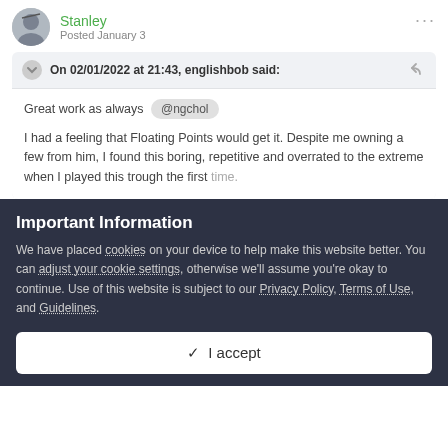Stanley
Posted January 3
On 02/01/2022 at 21:43, englishbob said:
Great work as always @ngchol
I had a feeling that Floating Points would get it. Despite me owning a few from him, I found this boring, repetitive and overrated to the extreme when I played this trough the first time.
Important Information
We have placed cookies on your device to help make this website better. You can adjust your cookie settings, otherwise we'll assume you're okay to continue. Use of this website is subject to our Privacy Policy, Terms of Use, and Guidelines.
I accept